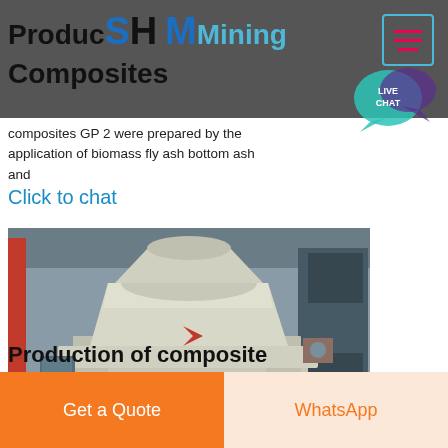Production of Geopolymer Composites — SH Mining navigation bar
composites GP 2 were prepared by the application of biomass fly ash bottom ash and
Click to chat
[Figure (photo): Industrial VSI (vertical shaft impact) crusher / sand making machine in a factory setting. The machine is large, painted light grey/beige, with a conical upper section and a wide rectangular base frame. Factory background with steel structures and equipment visible.]
Production of composite
Get a Quote
WhatsApp